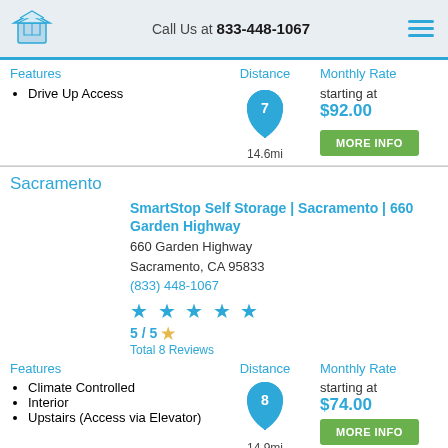Call Us at 833-448-1067
Features | Distance | Monthly Rate
Drive Up Access
14.6mi
starting at $92.00
MORE INFO
Sacramento
SmartStop Self Storage | Sacramento | 660 Garden Highway
660 Garden Highway
Sacramento, CA 95833
(833) 448-1067
5 / 5 ★ Total 8 Reviews
Features | Distance | Monthly Rate
Climate Controlled
Interior
Upstairs (Access via Elevator)
14.9mi
starting at $74.00
MORE INFO